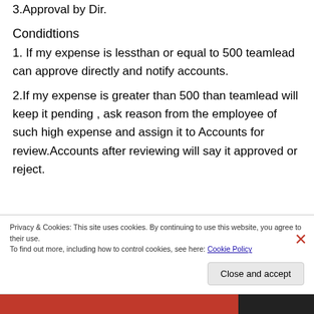3.Approval by Dir.
Condidtions
1. If my expense is lessthan or equal to 500 teamlead can approve directly and notify accounts.
2.If my expense is greater than 500 than teamlead will keep it pending , ask reason from the employee of such high expense and assign it to Accounts for review.Accounts after reviewing will say it approved or reject.
Privacy & Cookies: This site uses cookies. By continuing to use this website, you agree to their use.
To find out more, including how to control cookies, see here: Cookie Policy